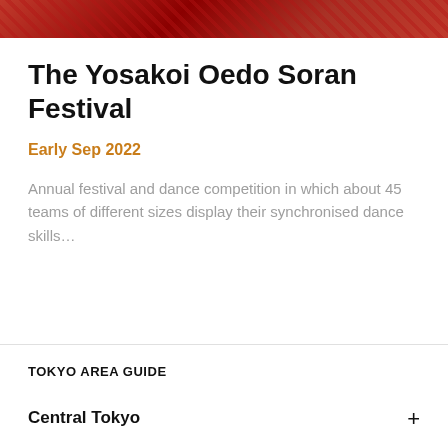[Figure (photo): Red banner header image with festive pattern background]
The Yosakoi Oedo Soran Festival
Early Sep 2022
Annual festival and dance competition in which about 45 teams of different sizes display their synchronised dance skills…
TOKYO AREA GUIDE
Central Tokyo